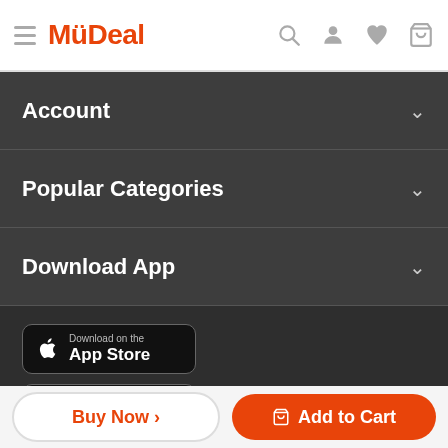MüDeal
Account
Popular Categories
Download App
[Figure (screenshot): Download on the App Store button]
[Figure (screenshot): Get it on Google Play button]
Learn More
Buy Now >
Add to Cart